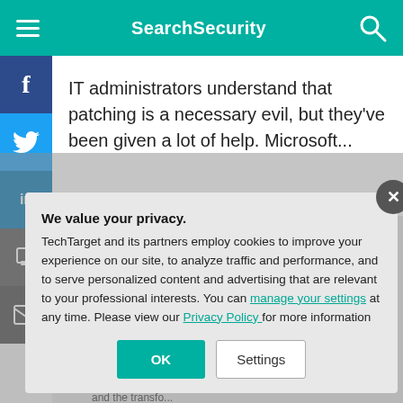SearchSecurity
IT administrators understand that patching is a necessary evil, but they've been given a lot of help. Microsoft...
Continue Reading This Article
Enjoy this art... including E-G...
corporate em...
I agree to T... and the transfo...
We value your privacy.
TechTarget and its partners employ cookies to improve your experience on our site, to analyze traffic and performance, and to serve personalized content and advertising that are relevant to your professional interests. You can manage your settings at any time. Please view our Privacy Policy for more information